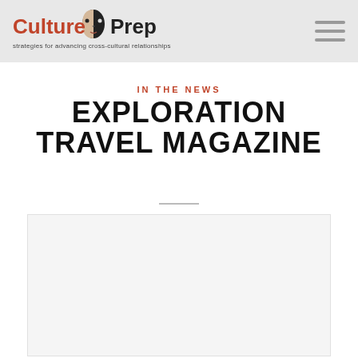[Figure (logo): CulturePrep logo with half-face graphic and text 'Culture Prep — strategies for advancing cross-cultural relationships']
IN THE NEWS
EXPLORATION TRAVEL MAGAZINE
[Figure (photo): White/light gray rectangular content area placeholder]